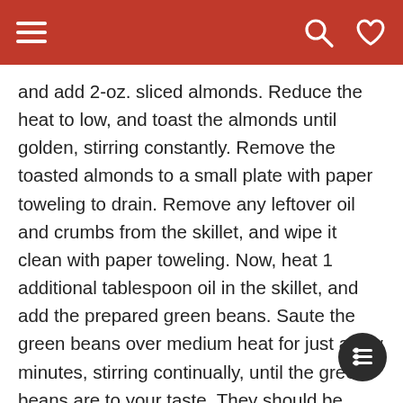Navigation header with hamburger menu, search icon, and heart icon
and add 2-oz. sliced almonds. Reduce the heat to low, and toast the almonds until golden, stirring constantly. Remove the toasted almonds to a small plate with paper toweling to drain. Remove any leftover oil and crumbs from the skillet, and wipe it clean with paper toweling. Now, heat 1 additional tablespoon oil in the skillet, and add the prepared green beans. Saute the green beans over medium heat for just a few minutes, stirring continually, until the green beans are to your taste. They should be crisp-tender, and they should have a bright green color. Remove them fairly quickly, if you like them crisp; let them cook a little longer if you like them more tender. Stir them continuously throughout the cooking process. Place the cooked green beans in a nice serving bowl, and place the toasted almonds on the top. The almonds can t...